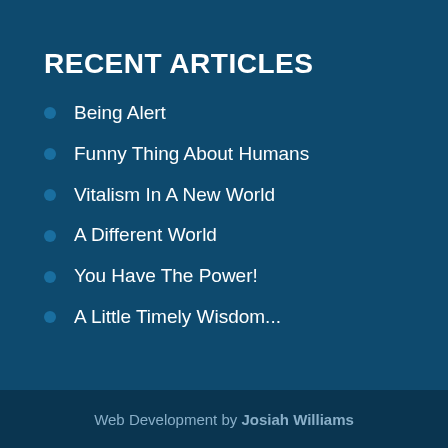RECENT ARTICLES
Being Alert
Funny Thing About Humans
Vitalism In A New World
A Different World
You Have The Power!
A Little Timely Wisdom...
Web Development by Josiah Williams